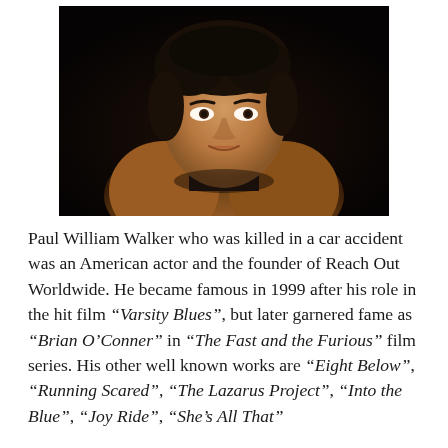[Figure (photo): Portrait photograph of Paul Walker, a man with dark hair wearing a brown leather jacket over a dark turtleneck, photographed against a dark background]
Paul William Walker who was killed in a car accident was an American actor and the founder of Reach Out Worldwide. He became famous in 1999 after his role in the hit film "Varsity Blues", but later garnered fame as "Brian O'Conner" in "The Fast and the Furious" film series. His other well known works are "Eight Below", "Running Scared", "The Lazarus Project", "Into the Blue", "Joy Ride", "She's All That"